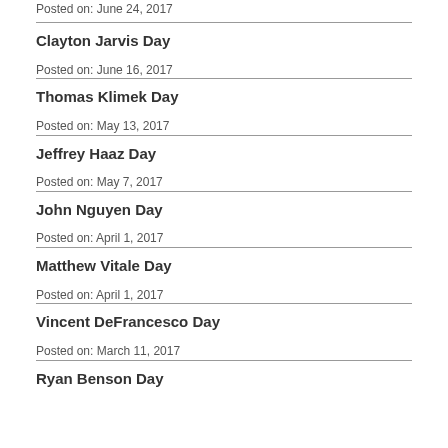Posted on: June 24, 2017
Clayton Jarvis Day
Posted on: June 16, 2017
Thomas Klimek Day
Posted on: May 13, 2017
Jeffrey Haaz Day
Posted on: May 7, 2017
John Nguyen Day
Posted on: April 1, 2017
Matthew Vitale Day
Posted on: April 1, 2017
Vincent DeFrancesco Day
Posted on: March 11, 2017
Ryan Benson Day